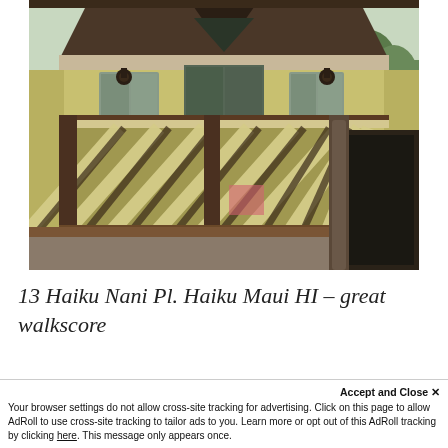[Figure (photo): Exterior photo of a house with a peaked roof, diagonal lattice railing on a porch/balcony, wooden pillars, and yellow siding. The building has a second-story balcony with dark trim and several windows visible.]
13 Haiku Nani Pl. Haiku Maui HI – great walkscore
Accept and Close ✕
Your browser settings do not allow cross-site tracking for advertising. Click on this page to allow AdRoll to use cross-site tracking to tailor ads to you. Learn more or opt out of this AdRoll tracking by clicking here. This message only appears once.